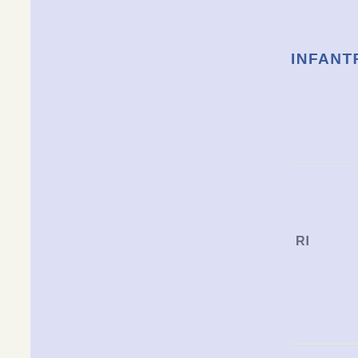|  |  |  | INFANTRY | RI... | AIRBO... |
| --- | --- | --- | --- | --- | --- |